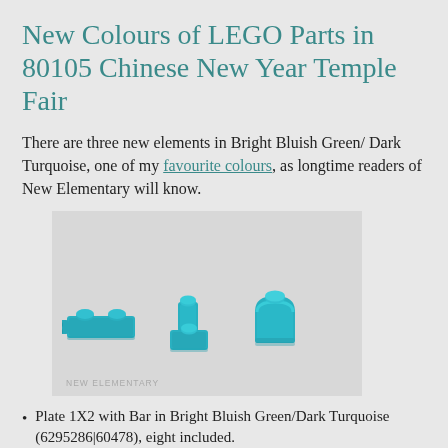New Colours of LEGO Parts in 80105 Chinese New Year Temple Fair
There are three new elements in Bright Bluish Green/ Dark Turquoise, one of my favourite colours, as longtime readers of New Elementary will know.
[Figure (photo): Three small LEGO pieces in Bright Bluish Green/Dark Turquoise colour photographed against a light grey background. Left piece is a Plate 1X2 with Bar, middle is a Bracket 1x1 Upwards, right is a rounded/arch piece. Label 'NEW ELEMENTARY' at bottom left.]
Plate 1X2 with Bar in Bright Bluish Green/Dark Turquoise (6295286|60478), eight included.
Bracket 1x1 Upwards in Bright Bluish Green